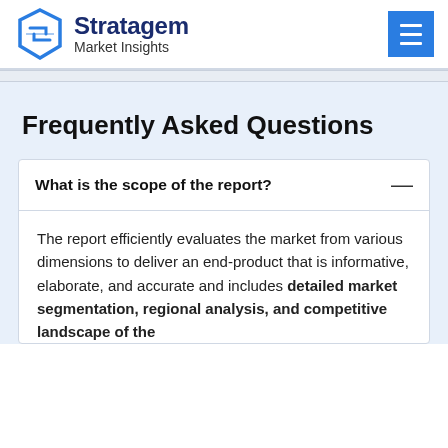[Figure (logo): Stratagem Market Insights logo with hexagon icon in blue and brand name text]
Frequently Asked Questions
What is the scope of the report?
The report efficiently evaluates the market from various dimensions to deliver an end-product that is informative, elaborate, and accurate and includes detailed market segmentation, regional analysis, and competitive landscape of the